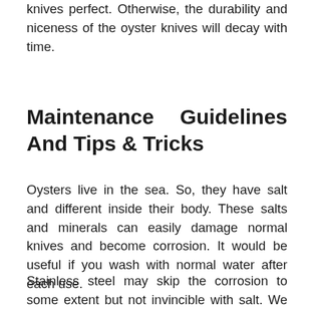knives perfect. Otherwise, the durability and niceness of the oyster knives will decay with time.
Maintenance Guidelines And Tips & Tricks
Oysters live in the sea. So, they have salt and different inside their body. These salts and minerals can easily damage normal knives and become corrosion. It would be useful if you wash with normal water after each use.
Stainless steel may skip the corrosion to some extent but not invincible with salt. We prefer the bent tip and 3 inches blade oyster knife to open the oyster easily for better